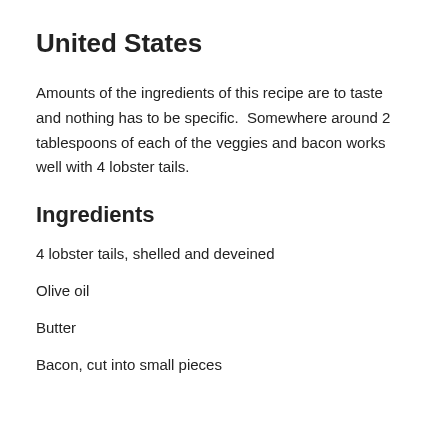United States
Amounts of the ingredients of this recipe are to taste and nothing has to be specific.  Somewhere around 2 tablespoons of each of the veggies and bacon works well with 4 lobster tails.
Ingredients
4 lobster tails, shelled and deveined
Olive oil
Butter
Bacon, cut into small pieces